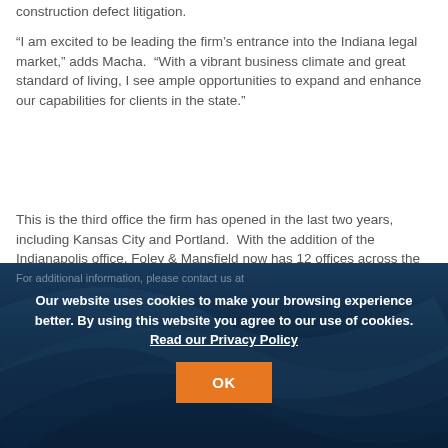construction defect litigation.
“I am excited to be leading the firm’s entrance into the Indiana legal market,” adds Macha.  “With a vibrant business climate and great standard of living, I see ample opportunities to expand and enhance our capabilities for clients in the state.”
This is the third office the firm has opened in the last two years, including Kansas City and Portland.  With the addition of the Indianapolis office, Foley & Mansfield now has 12 offices across the U.S.  The new Indianapolis office is located at 101 West Ohio Street, Suite 2000, Indianapolis, IN 46204.
Our website uses cookies to make your browsing experience better. By using this website you agree to our use of cookies. Read our Privacy Policy